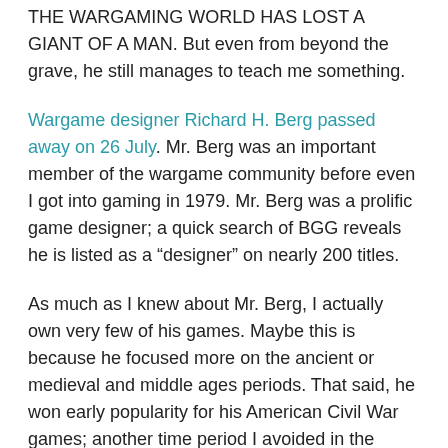THE WARGAMING WORLD HAS LOST A GIANT OF A MAN. But even from beyond the grave, he still manages to teach me something.
Wargame designer Richard H. Berg passed away on 26 July. Mr. Berg was an important member of the wargame community before even I got into gaming in 1979. Mr. Berg was a prolific game designer; a quick search of BGG reveals he is listed as a “designer” on nearly 200 titles.
As much as I knew about Mr. Berg, I actually own very few of his games. Maybe this is because he focused more on the ancient or medieval and middle ages periods. That said, he won early popularity for his American Civil War games; another time period I avoided in the 1980’s in favor or the modern era.